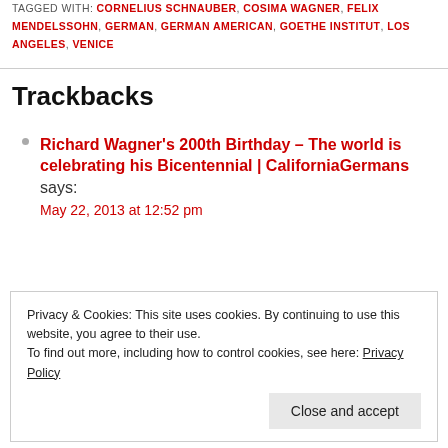TAGGED WITH: CORNELIUS SCHNAUBER, COSIMA WAGNER, FELIX MENDELSSOHN, GERMAN, GERMAN AMERICAN, GOETHE INSTITUT, LOS ANGELES, VENICE
Trackbacks
Richard Wagner's 200th Birthday – The world is celebrating his Bicentennial | CaliforniaGermans says: May 22, 2013 at 12:52 pm
Privacy & Cookies: This site uses cookies. By continuing to use this website, you agree to their use. To find out more, including how to control cookies, see here: Privacy Policy
Close and accept